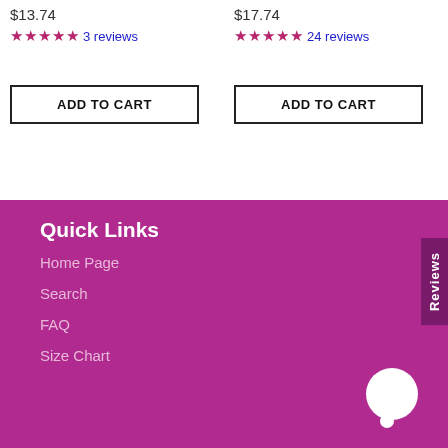$13.74
★★★★★ 3 reviews
ADD TO CART
$17.74
★★★★★ 24 reviews
ADD TO CART
Quick Links
Home Page
Search
FAQ
Size Chart
Reviews